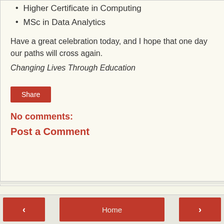Higher Certificate in Computing
MSc in Data Analytics
Have a great celebration today, and I hope that one day our paths will cross again.
Changing Lives Through Education
Share
No comments:
Post a Comment
‹  Home  ›